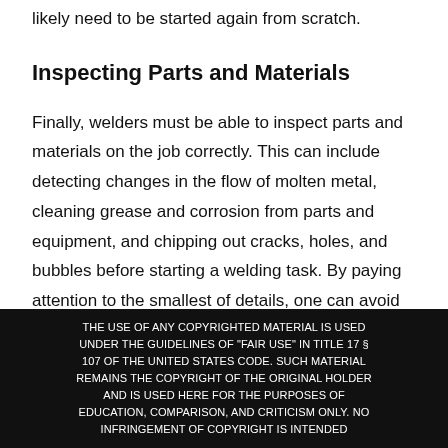likely need to be started again from scratch.
Inspecting Parts and Materials
Finally, welders must be able to inspect parts and materials on the job correctly. This can include detecting changes in the flow of molten metal, cleaning grease and corrosion from parts and equipment, and chipping out cracks, holes, and bubbles before starting a welding task. By paying attention to the smallest of details, one can avoid errors.
THE USE OF ANY COPYRIGHTED MATERIAL IS USED UNDER THE GUIDELINES OF "FAIR USE" IN TITLE 17 § 107 OF THE UNITED STATES CODE. SUCH MATERIAL REMAINS THE COPYRIGHT OF THE ORIGINAL HOLDER AND IS USED HERE FOR THE PURPOSES OF EDUCATION, COMPARISON, AND CRITICISM ONLY. NO INFRINGEMENT OF COPYRIGHT IS INTENDED